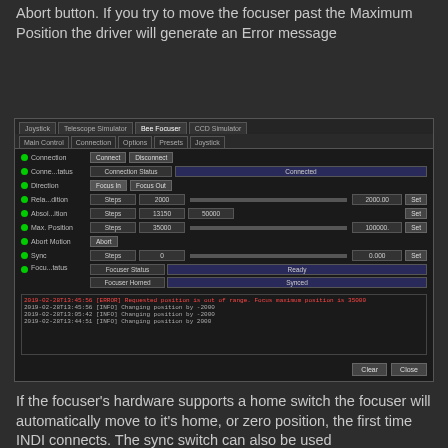Abort button. If you try to move the focuser past the Maximum Position the driver will generate an Error message
[Figure (screenshot): INDI control panel screenshot showing Bee Focuser driver interface with tabs (Joystick, Telescope Simulator, Bee Focuser, CCD Simulator), control rows for Connection, Connection Status (Connected), Direction (Focus In/Focus Out), Relative Position (Steps, 2000, 2000.00), Absolute Position (Steps, 13150, 50000), Max. Position (Steps, 35000, 100000), Abort Motion, Sync (Steps, 0, 0.000), Focuser Status (Ready/Synced), and a log area showing an ERROR about position out of range and INFO messages about changing position by -2000 and 2000, with Clear and Close buttons.]
If the focuser's hardware supports a home switch the focuser will automatically move to it's home, or zero position, the first time INDI connects. The sync switch can also be used